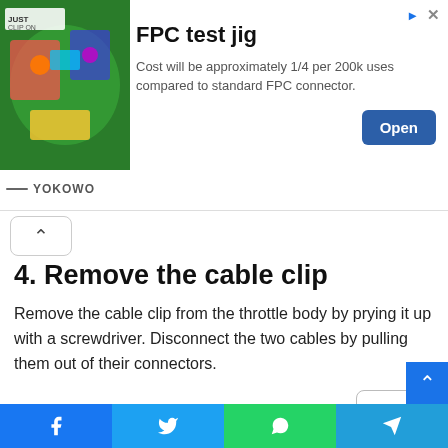[Figure (infographic): Advertisement banner for FPC test jig product by YOKOWO. Shows an image of colorful electronic components on the left, ad title 'FPC test jig', description text about cost, and an Open button.]
4. Remove the cable clip
Remove the cable clip from the throttle body by prying it up with a screwdriver. Disconnect the two cables by pulling them out of their connectors.
5. Disconnect the throttle cable from the carburetor
In order to disconnect the throttle cable from the carburetor, you will need a hex key or Allen wrench. Turn the screw in the top of the carburetor that holds on the throttle cable. Once it is